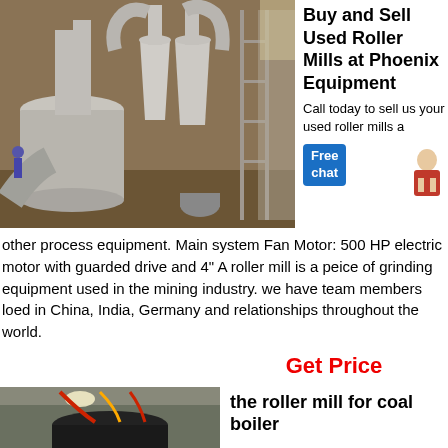[Figure (photo): Industrial roller mill equipment with large conical separators, pipes, and scaffolding inside a warehouse facility]
Buy and Sell Used Roller Mills at Phoenix Equipment
Call today to sell us your used roller mills and other process equipment. Main system Fan Motor: 500 HP electric motor with guarded drive and 4" A roller mill is a peice of grinding equipment used in the mining industry. we have team members loed in China, India, Germany and relationships throughout the world.
Get Price
[Figure (photo): Industrial roller mill for coal boiler, showing a large cylindrical black vessel inside an industrial facility]
the roller mill for coal boiler